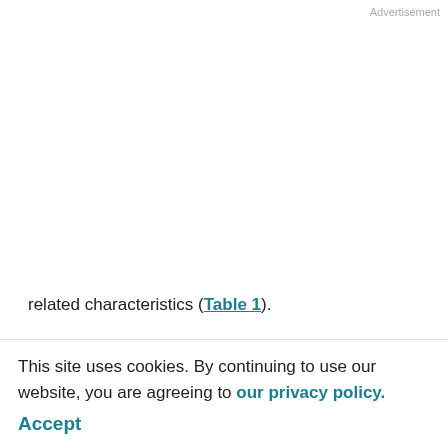Advertisement
related characteristics (Table 1).
Table 1.
Smoking history by type of cigarette and location of lung tumors by subject characteristics
|  | Smoking history* |  |  |
| --- | --- | --- | --- |
|  |  | Lifetime filter use | Mixed a |
| Overall | 138 (42) | 192 (58) | 139 (51) |
This site uses cookies. By continuing to use our website, you are agreeing to our privacy policy. Accept